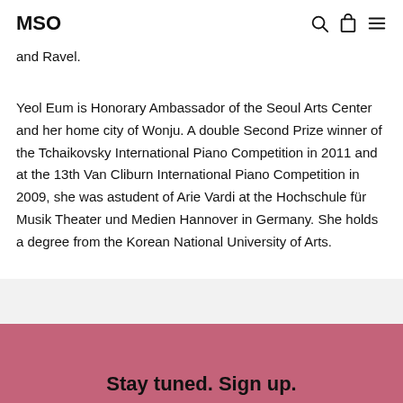MSO
and Ravel.
Yeol Eum is Honorary Ambassador of the Seoul Arts Center and her home city of Wonju. A double Second Prize winner of the Tchaikovsky International Piano Competition in 2011 and at the 13th Van Cliburn International Piano Competition in 2009, she was astudent of Arie Vardi at the Hochschule für Musik Theater und Medien Hannover in Germany. She holds a degree from the Korean National University of Arts.
Stay tuned. Sign up.